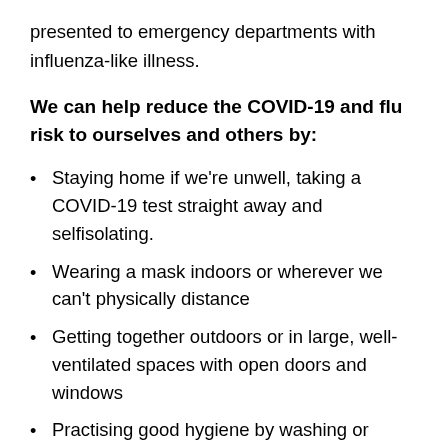presented to emergency departments with influenza-like illness.
We can help reduce the COVID-19 and flu risk to ourselves and others by:
Staying home if we're unwell, taking a COVID-19 test straight away and selfisolating.
Wearing a mask indoors or wherever we can't physically distance
Getting together outdoors or in large, well-ventilated spaces with open doors and windows
Practising good hygiene by washing or